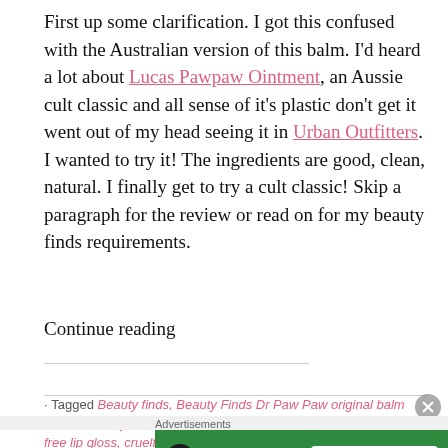First up some clarification. I got this confused with the Australian version of this balm. I'd heard a lot about Lucas Pawpaw Ointment, an Aussie cult classic and all sense of it's plastic don't get it went out of my head seeing it in Urban Outfitters. I wanted to try it! The ingredients are good, clean, natural. I finally get to try a cult classic! Skip a paragraph for the review or read on for my beauty finds requirements.
Continue reading
· Tagged Beauty finds, Beauty Finds Dr Paw Paw original balm review, beauty review, cruelty free, cruelty free lip balm, cruelty free lip gloss, cruelty free products, cruelty free skin care, cruelty
[Figure (other): Jetpack advertisement banner with green background showing Jetpack logo and 'Secure Your Site' button]